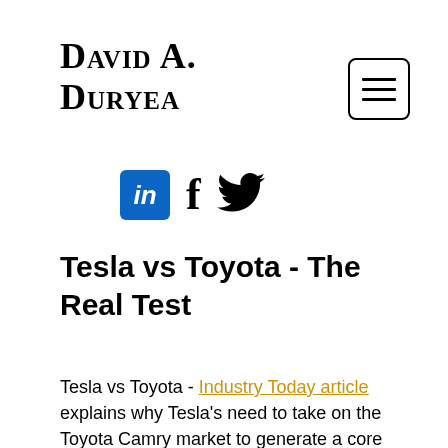David A. Duryea
Tesla vs Toyota - The Real Test
Tesla vs Toyota - Industry Today article explains why Tesla's need to take on the Toyota Camry market to generate a core business model.  Can Tesla take market, generate a viable core business model and be the great auto maker the should be?  The